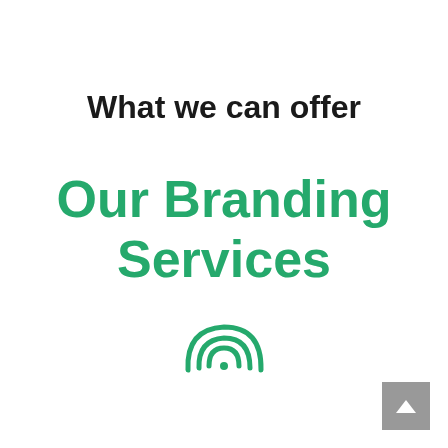What we can offer
Our Branding Services
[Figure (illustration): Green fingerprint / branding icon]